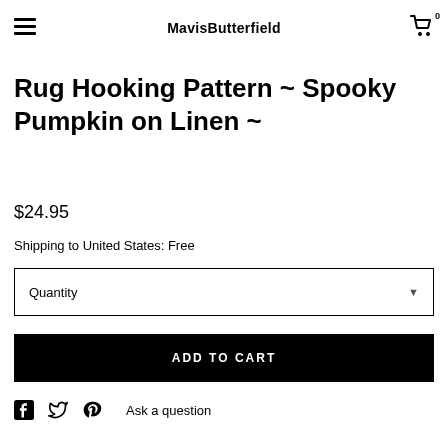MavisButterfield
Rug Hooking Pattern ~ Spooky Pumpkin on Linen ~
$24.95
Shipping to United States: Free
Quantity
ADD TO CART
Ask a question